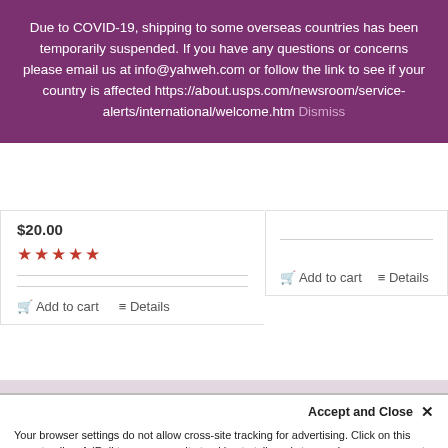Due to COVID-19, shipping to some overseas countries has been temporarily suspended. If you have any questions or concerns please email us at info@yahweh.com or follow the link to see if your country is affected https://about.usps.com/newsroom/service-alerts/international/welcome.htm Dismiss
$20.00 ★★★★★
Add to cart   Details
Add to cart   Details
THE HOUSE OF YAHWEH
Accept and Close ✕
Your browser settings do not allow cross-site tracking for advertising. Click on this page to allow AdRoll to use cross-site tracking to tailor ads to you. Learn more or opt out of this AdRoll tracking by clicking here. This message only appears once.